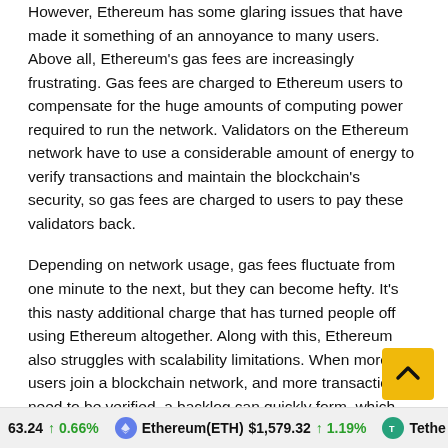However, Ethereum has some glaring issues that have made it something of an annoyance to many users. Above all, Ethereum's gas fees are increasingly frustrating. Gas fees are charged to Ethereum users to compensate for the huge amounts of computing power required to run the network. Validators on the Ethereum network have to use a considerable amount of energy to verify transactions and maintain the blockchain's security, so gas fees are charged to users to pay these validators back.
Depending on network usage, gas fees fluctuate from one minute to the next, but they can become hefty. It's this nasty additional charge that has turned people off using Ethereum altogether. Along with this, Ethereum also struggles with scalability limitations. When more users join a blockchain network, and more transactions need to be verified, a backlog can quickly form, which lengthens the time it takes for any transaction to be processed.
63.24 ↑ 0.66%   Ethereum(ETH) $1,579.32 ↑ 1.19%   Tethe